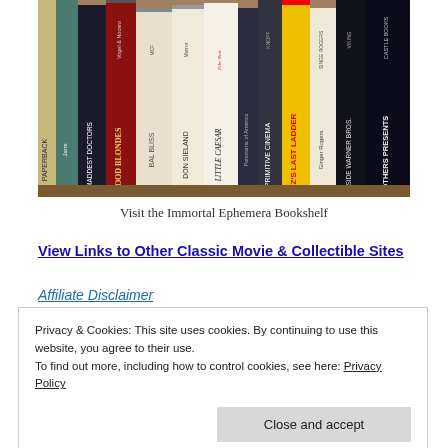[Figure (photo): A row of book spines on a bookshelf, including titles such as 'Good Blondes', 'Little Caesar', 'Primitive Cinema', 'Warner Bros Presents', and others related to classic movies.]
Visit the Immortal Ephemera Bookshelf
View Links to Other Classic Movie & Collectible Sites
Affiliate Disclaimer
Privacy & Cookies: This site uses cookies. By continuing to use this website, you agree to their use.
To find out more, including how to control cookies, see here: Privacy Policy
Close and accept
[Figure (logo): Partial logo visible at the bottom of the page, appears to show 'CMBA' in black letters on a light background.]